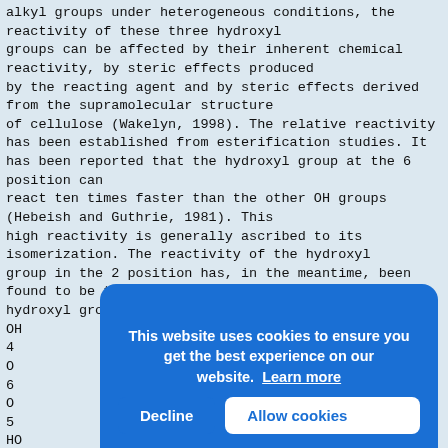alkyl groups under heterogeneous conditions, the reactivity of these three hydroxyl groups can be affected by their inherent chemical reactivity, by steric effects produced by the reacting agent and by steric effects derived from the supramolecular structure of cellulose (Wakelyn, 1998). The relative reactivity has been established from esterification studies. It has been reported that the hydroxyl group at the 6 position can react ten times faster than the other OH groups (Hebeish and Guthrie, 1981). This high reactivity is generally ascribed to its isomerization. The reactivity of the hydroxyl group in the 2 position has, in the meantime, been found to be twice that of one of the hydroxyl group at the 3 position.
OH
4
O
6
O
5
HO
3
2
OH 1
Fig.
anhy
The
full
deri
form the basis
[Figure (other): Cookie consent banner overlay with blue background, text 'This website uses cookies to ensure you get the best experience on our website. Learn more', with Decline and Allow cookies buttons.]